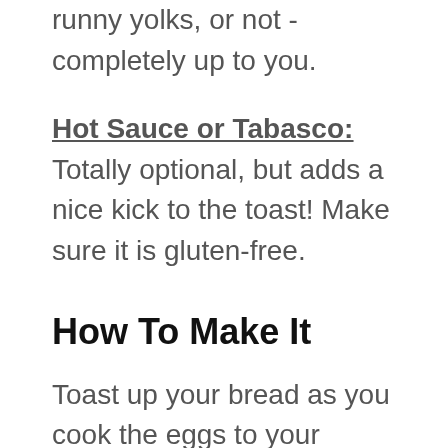runny yolks, or not - completely up to you.
Hot Sauce or Tabasco: Totally optional, but adds a nice kick to the toast! Make sure it is gluten-free.
How To Make It
Toast up your bread as you cook the eggs to your liking.
Spread the avocado over the bread